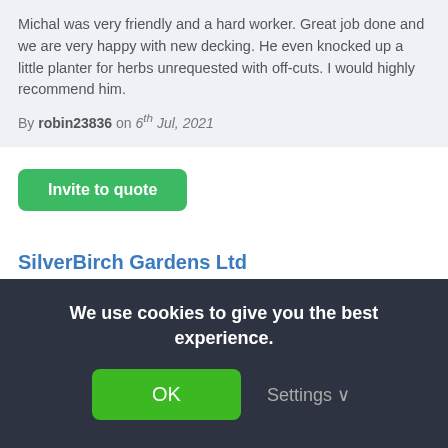Michal was very friendly and a hard worker. Great job done and we are very happy with new decking. He even knocked up a little planter for herbs unrequested with off-cuts. I would highly recommend him.
By robin23836 on 6th Jul, 2021
Invite to quote
SilverBirch Gardens Ltd
9 Feedback reviews, 100% positive
🔧 Decking Specialist working in Chard
We are a fully insured hard working team of
We use cookies to give you the best experience.
OK
Settings